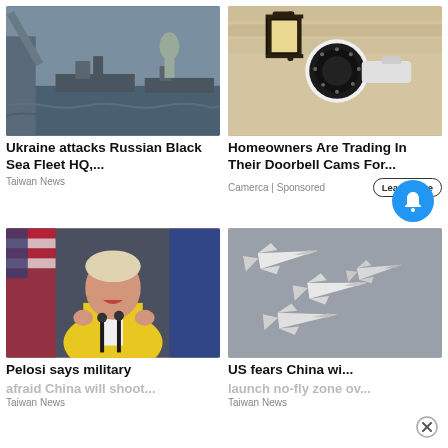[Figure (photo): Russian warships sailing past a raised bridge with a cathedral in the background]
Ukraine attacks Russian Black Sea Fleet HQ,...
Taiwan News
[Figure (photo): Security camera mounted on a stone wall next to a vintage lantern]
Homeowners Are Trading In Their Doorbell Cams For...
Camerca | Sponsored
[Figure (photo): Nancy Pelosi in yellow jacket speaking at a press conference with microphones]
Pelosi says military afraid China will shoot...
Taiwan News
[Figure (photo): Chinese military fighter jets flying in formation against a grey sky]
US fears China wi... launch no-fly zone ov...
Taiwan News